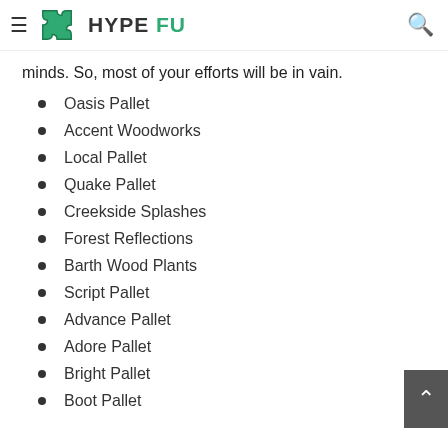HYPE FU
minds. So, most of your efforts will be in vain.
Oasis Pallet
Accent Woodworks
Local Pallet
Quake Pallet
Creekside Splashes
Forest Reflections
Barth Wood Plants
Script Pallet
Advance Pallet
Adore Pallet
Bright Pallet
Boot Pallet